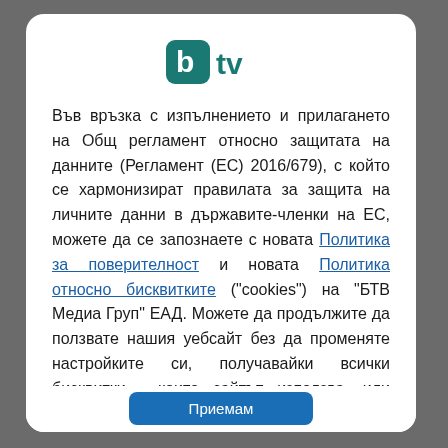[Figure (logo): bTV logo — white letter 'b' in teal rounded square followed by 'tv' in teal text]
Във връзка с изпълнението и прилагането на Общ регламент относно защитата на данните (Регламент (ЕС) 2016/679), с който се хармонизират правилата за защита на личните данни в държавите-членки на ЕС, можете да се запознаете с новата Политика за поверителност и новата Политика относно бисквитките ("cookies") на "БТВ Медиа Груп" ЕАД. Можете да продължите да ползвате нашия уебсайт без да променяте настройките си, получавайки всички бисквитки , които сайтът използва, или можете да промените своите настройки за бисквитки по всяко време. От Вас зависи. Моля, запознайте се с нашите политики, като кликнете на всяка от тях.